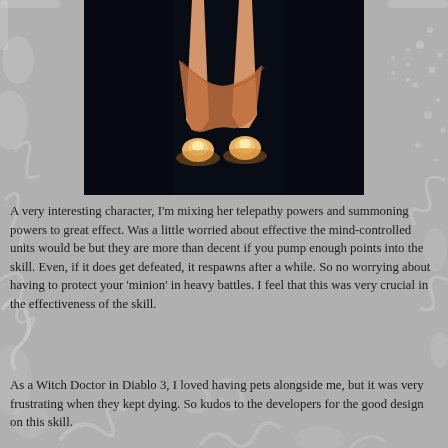[Figure (photo): Lower body of a female video game character with bare legs and glowing boots/hooves, against a dark background]
A very interesting character, I'm mixing her telepathy powers and summoning powers to great effect. Was a little worried about effective the mind-controlled units would be but they are more than decent if you pump enough points into the skill. Even, if it does get defeated, it respawns after a while. So no worrying about having to protect your 'minion' in heavy battles. I feel that this was very crucial in the effectiveness of the skill.
As a Witch Doctor in Diablo 3, I loved having pets alongside me, but it was very frustrating when they kept dying. So kudos to the developers for the good design on this skill.